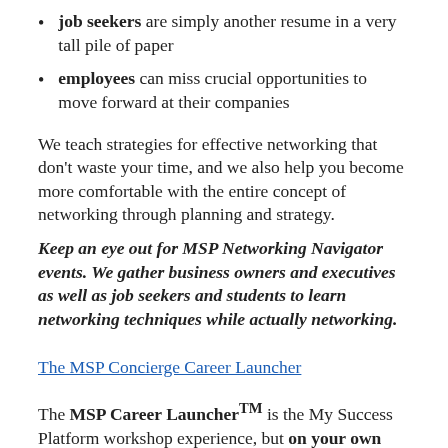job seekers are simply another resume in a very tall pile of paper
employees can miss crucial opportunities to move forward at their companies
We teach strategies for effective networking that don't waste your time, and we also help you become more comfortable with the entire concept of networking through planning and strategy.
Keep an eye out for MSP Networking Navigator events. We gather business owners and executives as well as job seekers and students to learn networking techniques while actually networking.
The MSP Concierge Career Launcher
The MSP Career Launcher™ is the My Success Platform workshop experience, but on your own